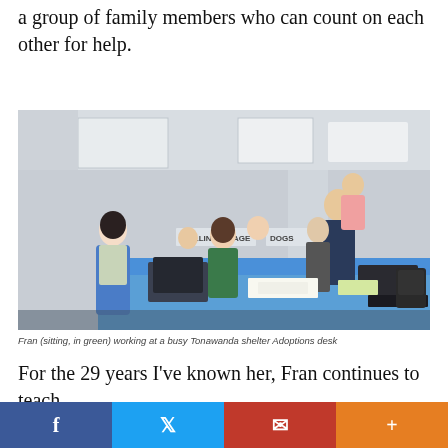a group of family members who can count on each other for help.
[Figure (photo): Busy animal shelter Adoptions desk with multiple staff members. A woman in blue scrubs and floral top stands on the left. Another woman in green sits at the desk. Others work at computers. On the right, a person in a dark jacket holds a small child in a pink outfit. Signs in the background read 'Chillin' Village' and 'Dogs'.]
Fran (sitting, in green) working at a busy Tonawanda shelter Adoptions desk
For the 29 years I've known her, Fran continues to teach